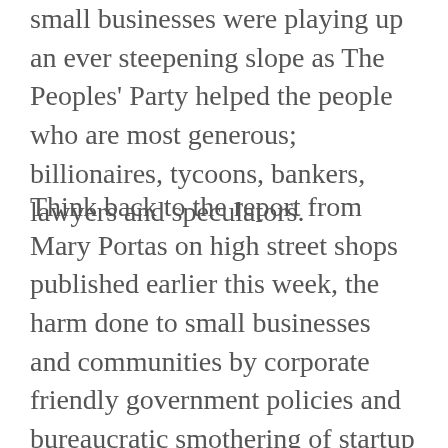small businesses were playing up an ever steepening slope as The Peoples' Party helped the people who are most generous; billionaires, tycoons, bankers, lawyers and speculators.
Think back to the report from Mary Portas on high street shops published earlier this week, the harm done to small businesses and communities by corporate friendly government policies and bureaucratic smothering of startup enterprises was highlighted there. And it is not recent, this cosyness between elected politicians, gravy train riding tax eaters and greedy corporate execs has gone on for decades. More recently they have been attacking local employers by enacting measures aimed at pushing business online.